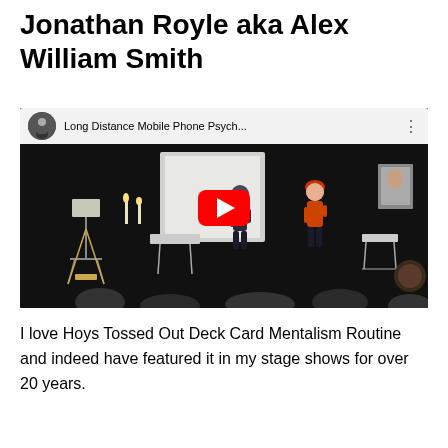Jonathan Royle aka Alex William Smith
[Figure (screenshot): YouTube video thumbnail showing a stage performance with a man and woman on stage. The video title reads 'Long Distance Mobile Phone Psych...' with a YouTube play button overlay. A circular avatar of the presenter appears in the top-left of the video bar.]
I love Hoys Tossed Out Deck Card Mentalism Routine and indeed have featured it in my stage shows for over 20 years.